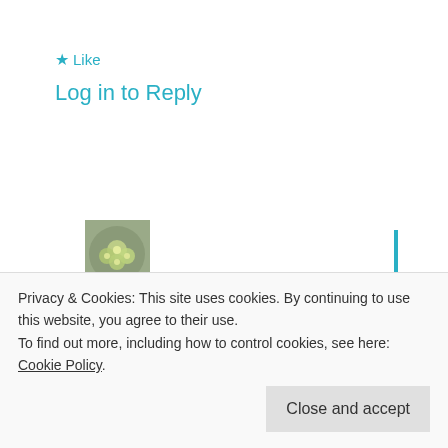★ Like
Log in to Reply
[Figure (photo): Small square avatar image of green flowers on a gray background]
mainelyhopeful · September 21, 2012
Congrats to you too! And on opening your Esty shop!
★ Like
Privacy & Cookies: This site uses cookies. By continuing to use this website, you agree to their use.
To find out more, including how to control cookies, see here: Cookie Policy